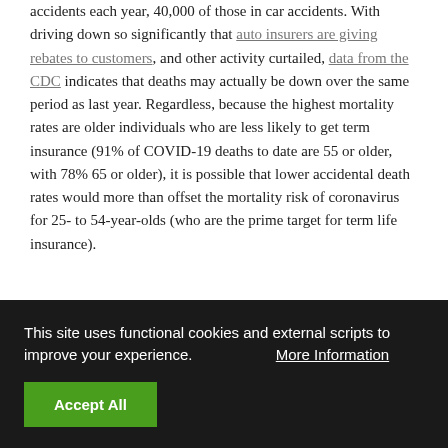accidents each year, 40,000 of those in car accidents. With driving down so significantly that auto insurers are giving rebates to customers, and other activity curtailed, data from the CDC indicates that deaths may actually be down over the same period as last year. Regardless, because the highest mortality rates are older individuals who are less likely to get term insurance (91% of COVID-19 deaths to date are 55 or older, with 78% 65 or older), it is possible that lower accidental death rates would more than offset the mortality risk of coronavirus for 25- to 54-year-olds (who are the prime target for term life insurance).
This site uses functional cookies and external scripts to improve your experience. More Information
Accept All